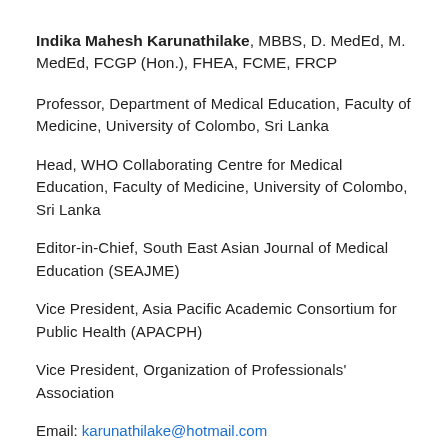Indika Mahesh Karunathilake, MBBS, D. MedEd, M. MedEd, FCGP (Hon.), FHEA, FCME, FRCP
Professor, Department of Medical Education, Faculty of Medicine, University of Colombo, Sri Lanka
Head, WHO Collaborating Centre for Medical Education, Faculty of Medicine, University of Colombo, Sri Lanka
Editor-in-Chief, South East Asian Journal of Medical Education (SEAJME)
Vice President, Asia Pacific Academic Consortium for Public Health (APACPH)
Vice President, Organization of Professionals' Association
Email: karunathilake@hotmail.com